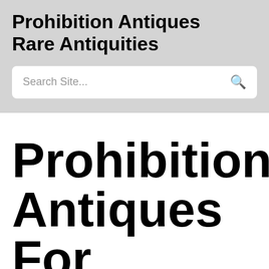Prohibition Antiques Rare Antiquities
Search Site...
Prohibition Antiques For